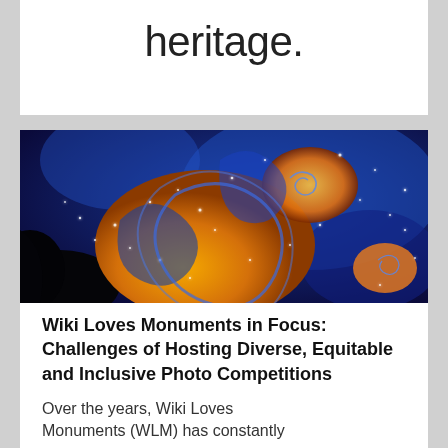heritage.
[Figure (photo): Colorful fractal image with blue and orange swirling patterns resembling a Mandelbrot set zoom, with intricate spiral details and starlike highlights on a dark background.]
Wiki Loves Monuments in Focus: Challenges of Hosting Diverse, Equitable and Inclusive Photo Competitions
Over the years, Wiki Loves Monuments (WLM) has constantly